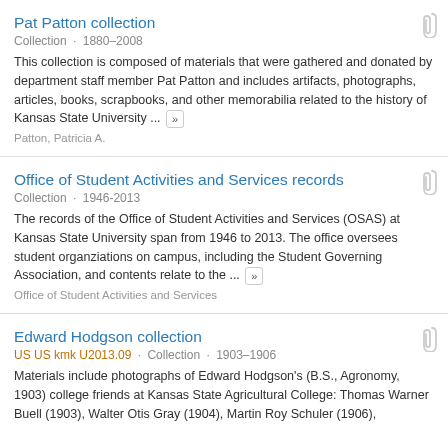Pat Patton collection
Collection · 1880–2008
This collection is composed of materials that were gathered and donated by department staff member Pat Patton and includes artifacts, photographs, articles, books, scrapbooks, and other memorabilia related to the history of Kansas State University ...
Patton, Patricia A.
Office of Student Activities and Services records
Collection · 1946-2013
The records of the Office of Student Activities and Services (OSAS) at Kansas State University span from 1946 to 2013. The office oversees student organziations on campus, including the Student Governing Association, and contents relate to the ...
Office of Student Activities and Services
Edward Hodgson collection
US US kmk U2013.09 · Collection · 1903–1906
Materials include photographs of Edward Hodgson's (B.S., Agronomy, 1903) college friends at Kansas State Agricultural College: Thomas Warner Buell (1903), Walter Otis Gray (1904), Martin Roy Schuler (1906),